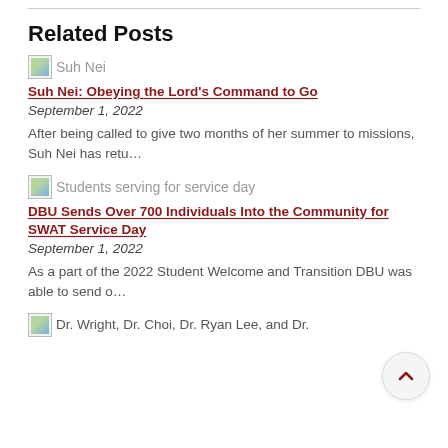Related Posts
[Figure (photo): Broken image placeholder with alt text 'Suh Nei']
Suh Nei: Obeying the Lord's Command to Go
September 1, 2022
After being called to give two months of her summer to missions, Suh Nei has retu…
[Figure (photo): Broken image placeholder with alt text 'Students serving for service day']
DBU Sends Over 700 Individuals Into the Community for SWAT Service Day
September 1, 2022
As a part of the 2022 Student Welcome and Transition DBU was able to send o…
[Figure (photo): Broken image placeholder with alt text 'Dr. Wright, Dr. Choi, Dr. Ryan Lee, and Dr.']